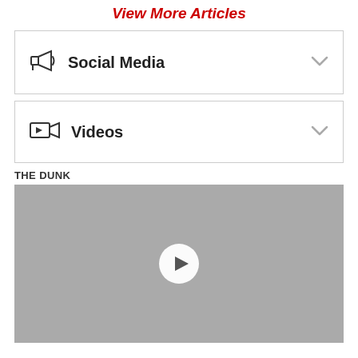View More Articles
Social Media
Videos
THE DUNK
[Figure (screenshot): Video thumbnail placeholder with a play button in the center on a grey background]